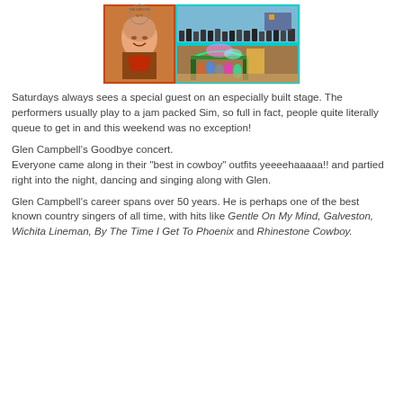[Figure (photo): Collage of images: a portrait photo of Glen Campbell in a brown/orange jacket on the left, and two screenshots from a virtual world/Second Life concert scene showing crowds of avatars dancing on a beach stage, with colorful lighting and decorations.]
Saturdays always sees a special guest on an especially built stage. The performers usually play to a jam packed Sim, so full in fact, people quite literally queue to get in and this weekend was no exception!
Glen Campbell's Goodbye concert.
Everyone came along in their "best in cowboy" outfits yeeeehaaaaa!! and partied right into the night, dancing and singing along with Glen.
Glen Campbell's career spans over 50 years. He is perhaps one of the best known country singers of all time, with hits like Gentle On My Mind, Galveston, Wichita Lineman, By The Time I Get To Phoenix and Rhinestone Cowboy.